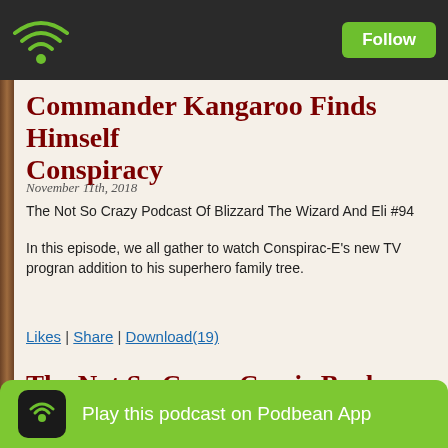Follow
Commander Kangaroo Finds Himself Conspiracy
November 11th, 2018
The Not So Crazy Podcast Of Blizzard The Wizard And Eli #94
In this episode, we all gather to watch Conspirac-E's new TV program addition to his superhero family tree.
Likes | Share | Download(19)
The Not So Crazy Comic Book Review Wizard And Eli (Nov. 7, 2018)
November 7th...
Comic b...
Play this podcast on Podbean App